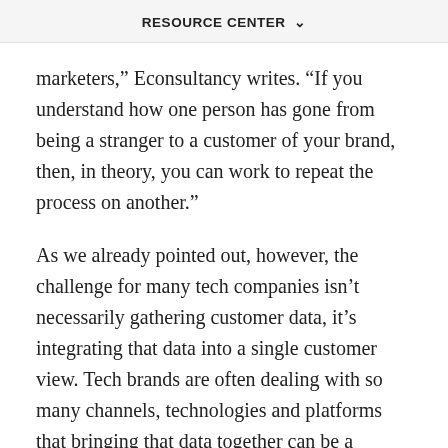RESOURCE CENTER
marketers," Econsultancy writes. "If you understand how one person has gone from being a stranger to a customer of your brand, then, in theory, you can work to repeat the process on another."
As we already pointed out, however, the challenge for many tech companies isn't necessarily gathering customer data, it's integrating that data into a single customer view. Tech brands are often dealing with so many channels, technologies and platforms that bringing that data together can be a serious barrier. This is apparent in a 2016 Epsilon report that shows the lack of technology to integrate data and the ability the